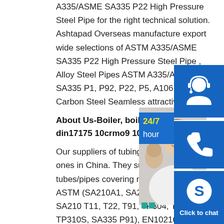A335/ASME SA335 P22 High Pressure Steel Pipe for the right technical solution. Ashtapad Overseas manufacture export wide selections of ASTM A335/ASME SA335 P22 High Pressure Steel Pipe , Alloy Steel Pipes ASTM A335/ASME SA335 P1, P92, P22, P5, A106 Grade B Carbon Steel Seamless attractive
About Us-Boiler, boiler parts,econo din17175 10crmo9 10 pressure pipe
Our suppliers of tubing and pipes are the best ones in China. They supply different sp tubes/pipes covering material such as ASTM (SA210A1, SA210C, SA106B, SA210 T11, T22, T91, TP304, TP309, TP310S, SA335 P91), EN10216 (P235GH, 16Mo3, 10CrMo9-10), DIN17175 (X10CrAlSi18). Asia Energy EngineeringStandard Alloy and Stainless Steel; ASTM A182 all grades, A276 all grades Standard Nickel Alloy Alloy 20, Alloy 230, Hastelloy X, Hastelloy C-276, Monel 400, Inconel X-750
[Figure (photo): Customer service representative smiling, with blue panel overlay showing 24/7 hour badge, headset icon, phone icon, Skype icon, and Click to chat button]